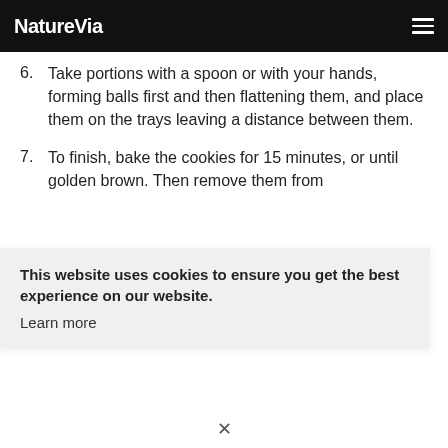NatureVia
Take portions with a spoon or with your hands, forming balls first and then flattening them, and place them on the trays leaving a distance between them.
To finish, bake the cookies for 15 minutes, or until golden brown. Then remove them from
This website uses cookies to ensure you get the best experience on our website.
Learn more